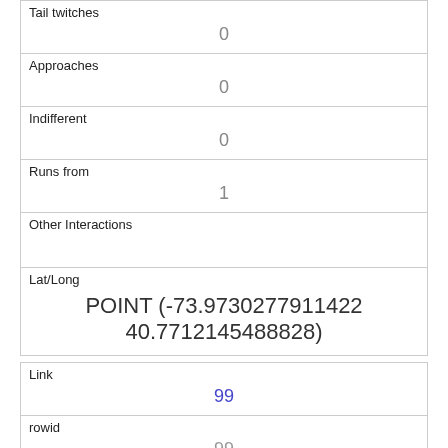| Tail twitches | 0 |
| Approaches | 0 |
| Indifferent | 0 |
| Runs from | 1 |
| Other Interactions |  |
| Lat/Long | POINT (-73.9730277911422 40.7712145488828) |
| Link | 99 |
| rowid | 99 |
| longitude | -73.9710541405708 |
| latitude |  |